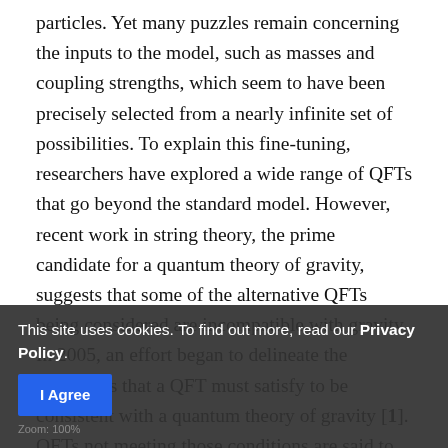particles. Yet many puzzles remain concerning the inputs to the model, such as masses and coupling strengths, which seem to have been precisely selected from a nearly infinite set of possibilities. To explain this fine-tuning, researchers have explored a wide range of QFTs that go beyond the standard model. However, recent work in string theory, the prime candidate for a quantum theory of gravity, suggests that some of the alternative QFTs being considered are incompatible with gravity. In 2005, an effort began to delineate the conditions that a QFT must satisfy to be consistent with a quantum theory of gravity [1]. QFTs not meeting those conditions are said to reside in the “swampland.” This sorting of QFTs by their consistency with gravity has become an unexpectedly powerful theoretical tool, offering potential solutions to the problems of fine-tuning. Moreover, by mapping out the swampland, string theorists have uncovered testable predictions in cosmology concerning the nature of dark energy and to the dynamics of
This site uses cookies. To find out more, read our Privacy Policy.
I Agree